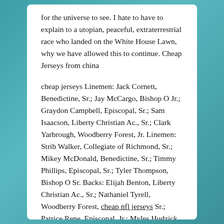for the universe to see. I hate to have to explain to a utopian, peaceful, extraterrestrial race who landed on the White House Lawn, why we have allowed this to continue. Cheap Jerseys from china
cheap jerseys Linemen: Jack Cornett, Benedictine, Sr.; Jay McCargo, Bishop O Jr.; Graydon Campbell, Episcopal, Sr.; Sam Isaacson, Liberty Christian Ac., Sr.; Clark Yarbrough, Woodberry Forest, Jr. Linemen: Strib Walker, Collegiate of Richmond, Sr.; Mikey McDonald, Benedictine, Sr.; Timmy Phillips, Episcopal, Sr.; Tyler Thompson, Bishop O Sr. Backs: Elijah Benton, Liberty Christian Ac., Sr.; Nathaniel Tyrell, Woodberry Forest, cheap nfl jerseys Sr.; Patrice Rene, Episcopal, Jr.; Myles Hudzick, Bishop